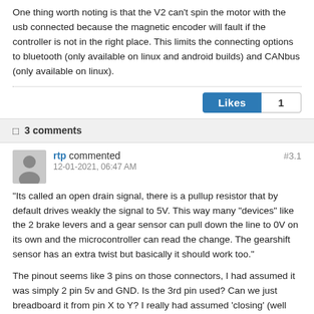One thing worth noting is that the V2 can't spin the motor with the usb connected because the magnetic encoder will fault if the controller is not in the right place. This limits the connecting options to bluetooth (only available on linux and android builds) and CANbus (only available on linux).
Likes 1
3 comments
rtp commented #3.1 12-01-2021, 06:47 AM
"Its called an open drain signal, there is a pullup resistor that by default drives weakly the signal to 5V. This way many "devices" like the 2 brake levers and a gear sensor can pull down the line to 0V on its own and the microcontroller can read the change. The gearshift sensor has an extra twist but basically it should work too."
The pinout seems like 3 pins on those connectors, I had assumed it was simply 2 pin 5v and GND. Is the 3rd pin used? Can we just breadboard it from pin X to Y? I really had assumed 'closing' (well moving magnet away on brake lever would allow circuit to close, or moving gear sensor pivot during shift) was simply closing the circuit to apply 5v onto the second pin. (Long ago I was an electronics tech but man, sure wish I remember more :-/ ). Are all 3 pins used or no? (e.g.